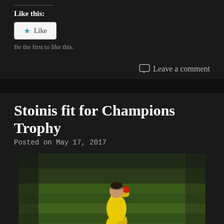Like this:
[Figure (screenshot): Like button widget with star icon and 'Like' text on light background]
Be the first to like this.
Leave a comment
Stoinis fit for Champions Trophy
Posted on May 17, 2017
[Figure (photo): Cricket player wearing yellow Australian ODI uniform bowling or throwing a ball on a green cricket field]